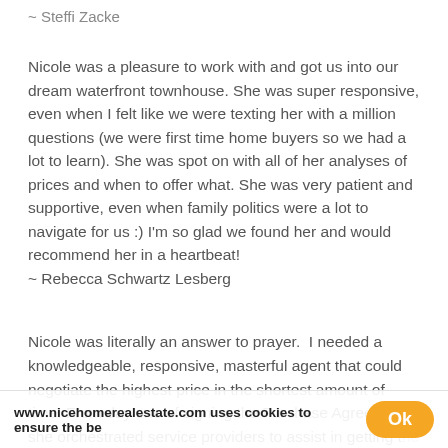~ Steffi Zacke
Nicole was a pleasure to work with and got us into our dream waterfront townhouse. She was super responsive, even when I felt like we were texting her with a million questions (we were first time home buyers so we had a lot to learn). She was spot on with all of her analyses of prices and when to offer what. She was very patient and supportive, even when family politics were a lot to navigate for us :) I'm so glad we found her and would recommend her in a heartbeat!
~ Rebecca Schwartz Lesberg
Nicole was literally an answer to prayer.  I needed a knowledgeable, responsive, masterful agent that could negotiate the highest price in the shortest amount of time. From day one of signing the Purchase Agreement she orchestrated service providers to assist in getting the home to the marketplace point. She cookies informs, and educated me every step of the way with her posi get-it-done attitude.  Her creative skills delivered in a
www.nicehomerealestate.com uses cookies to ensure the be
Ok
Learn More
Privacy - Terms